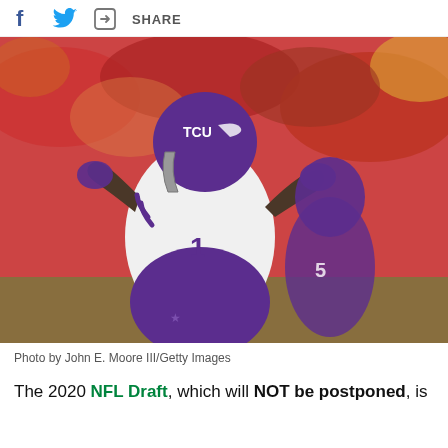f  [twitter bird]  [share icon]  SHARE
[Figure (photo): TCU football player wearing number 1 in white jersey and purple pants with purple TCU helmet, clapping hands on a football field with blurred crowd in the background. Another player in purple jersey visible behind.]
Photo by John E. Moore III/Getty Images
The 2020 NFL Draft, which will NOT be postponed, is